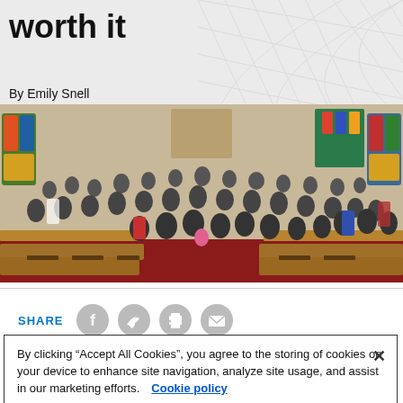worth it
By Emily Snell
[Figure (photo): Large group photo of a diverse congregation gathered inside a church with wooden pews, stained glass windows, and colorful decorations on the walls.]
SHARE
By clicking “Accept All Cookies”, you agree to the storing of cookies on your device to enhance site navigation, analyze site usage, and assist in our marketing efforts. Cookie policy